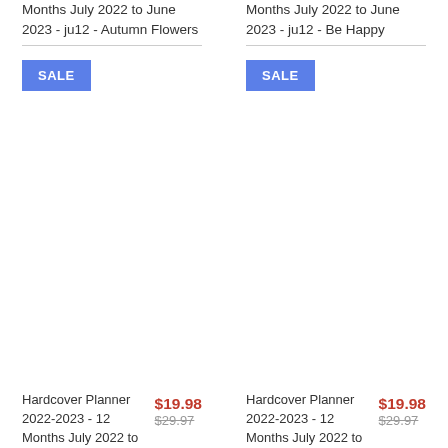Months July 2022 to June 2023 - ju12 - Autumn Flowers
SALE
Hardcover Planner 2022-2023 - 12 Months July 2022 to
$19.98
$29.97
Months July 2022 to June 2023 - ju12 - Be Happy
SALE
Hardcover Planner 2022-2023 - 12 Months July 2022 to
$19.98
$29.97